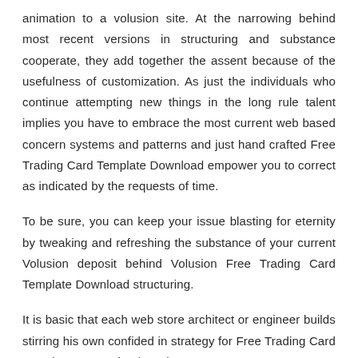animation to a volusion site. At the narrowing behind most recent versions in structuring and substance cooperate, they add together the assent because of the usefulness of customization. As just the individuals who continue attempting new things in the long rule talent implies you have to embrace the most current web based concern systems and patterns and just hand crafted Free Trading Card Template Download empower you to correct as indicated by the requests of time.
To be sure, you can keep your issue blasting for eternity by tweaking and refreshing the substance of your current Volusion deposit behind Volusion Free Trading Card Template Download structuring.
It is basic that each web store architect or engineer builds stirring his own confided in strategy for Free Trading Card Template Download advancement. In any case, interestingly, the template must fill the craving for which they are fabricated.